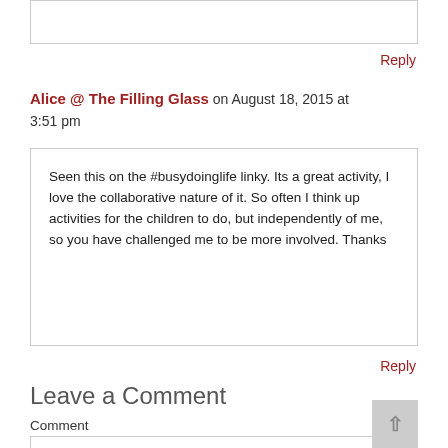Alice @ The Filling Glass on August 18, 2015 at 3:51 pm
Seen this on the #busydoinglife linky. Its a great activity, I love the collaborative nature of it. So often I think up activities for the children to do, but independently of me, so you have challenged me to be more involved. Thanks
Reply
Leave a Comment
Comment
Reply